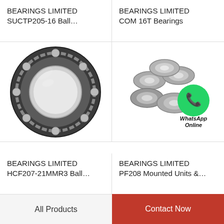BEARINGS LIMITED SUCTP205-16 Ball…
BEARINGS LIMITED COM 16T Bearings
[Figure (photo): A single open deep-groove ball bearing, metallic silver/dark steel, viewed from the front showing the rolling elements.]
[Figure (photo): Multiple small ball bearings stacked together with a WhatsApp Online green circle icon overlay.]
BEARINGS LIMITED HCF207-21MMR3 Ball…
BEARINGS LIMITED PF208 Mounted Units &…
All Products
Contact Now